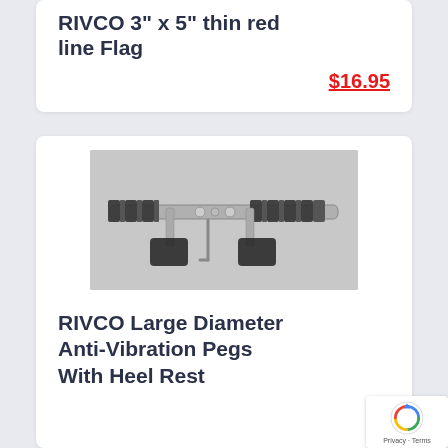RIVCO 3" x 5" thin red line Flag
$16.95
[Figure (photo): Motorcycle foot pegs product photo showing a pair of chrome anti-vibration pegs with black rubber grips and mounting hardware including an allen wrench]
RIVCO Large Diameter Anti-Vibration Pegs With Heel Rest